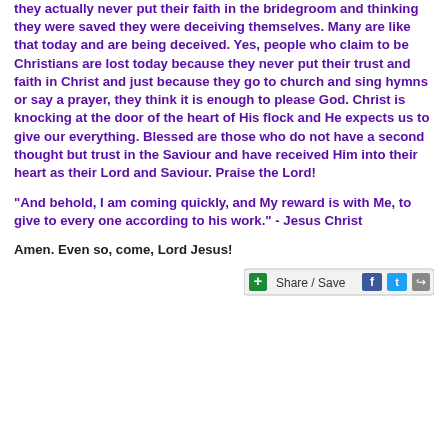they actually never put their faith in the bridegroom and thinking they were saved they were deceiving themselves. Many are like that today and are being deceived. Yes, people who claim to be Christians are lost today because they never put their trust and faith in Christ and just because they go to church and sing hymns or say a prayer, they think it is enough to please God. Christ is knocking at the door of the heart of His flock and He expects us to give our everything. Blessed are those who do not have a second thought but trust in the Saviour and have received Him into their heart as their Lord and Saviour. Praise the Lord!
"And behold, I am coming quickly, and My reward is with Me, to give to every one according to his work." - Jesus Christ
Amen. Even so, come, Lord Jesus!
[Figure (other): Share / Save social sharing button with Facebook, Twitter, and share icons]